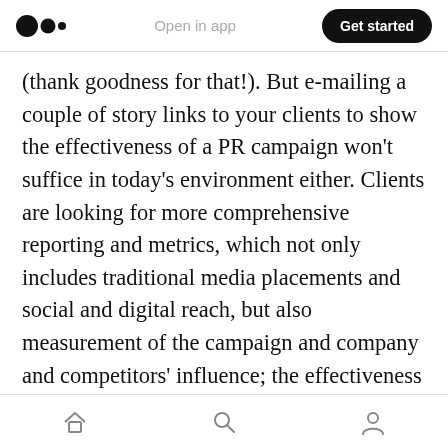Medium logo | Open in app | Get started
(thank goodness for that!). But e-mailing a couple of story links to your clients to show the effectiveness of a PR campaign won't suffice in today's environment either. Clients are looking for more comprehensive reporting and metrics, which not only includes traditional media placements and social and digital reach, but also measurement of the campaign and company and competitors' influence; the effectiveness of their messaging; and third-party engagement. Automating aspects of your reporting is fine, but it can't be cookie cutter. I've learned that the
Home | Search | Profile